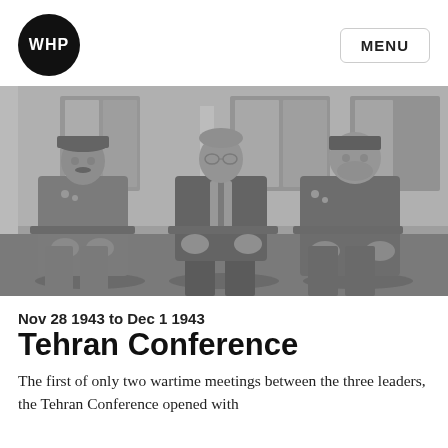WHP | MENU
[Figure (photo): Black and white photograph of three seated leaders: Stalin on the left in military uniform, Roosevelt in the center in a suit, and Churchill on the right in military uniform, photographed outdoors at the Tehran Conference.]
Nov 28 1943 to Dec 1 1943
Tehran Conference
The first of only two wartime meetings between the three leaders, the Tehran Conference opened with